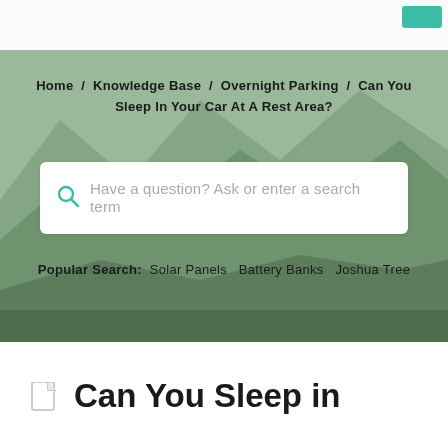[Figure (photo): Green-tinted mountain landscape banner background with hero overlay]
Home / Knowledge Base / Overnight Parking / Can You Sleep In Your Car At A Rest Area?
[Figure (other): Search input box with teal magnifying glass icon and placeholder text 'Have a question? Ask or enter a search term']
Popular Search: Solar Panels  Battery Banks  Joshua Tree
Can You Sleep in